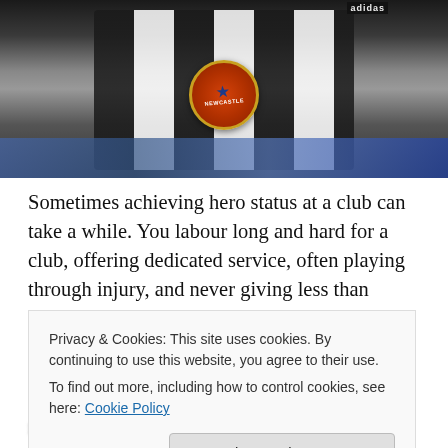[Figure (photo): A football player wearing a black and white striped Newcastle United jersey with Adidas branding, celebrating with arms raised. The Newcastle United badge is visible on the shirt. A crowd is visible in the background.]
Sometimes achieving hero status at a club can take a while. You labour long and hard for a club, offering dedicated service, often playing through injury, and never giving less than 100% effort for the cause. For others, however, there's an aura that they bring with them, they fit perfectly into the template that the club – and the fans – are looking for. When Les Ferdinand joined Newcastle
Privacy & Cookies: This site uses cookies. By continuing to use this website, you agree to their use.
To find out more, including how to control cookies, see here: Cookie Policy
Close and accept
nine shirt fitted him like a glove.